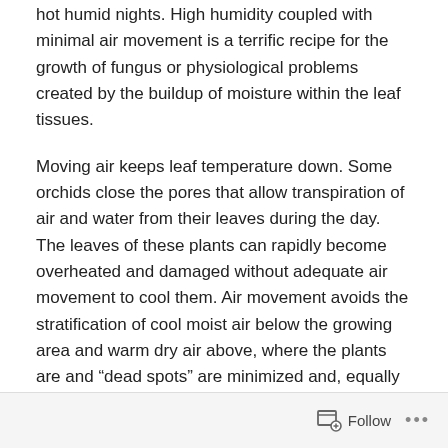hot humid nights. High humidity coupled with minimal air movement is a terrific recipe for the growth of fungus or physiological problems created by the buildup of moisture within the leaf tissues.
Moving air keeps leaf temperature down. Some orchids close the pores that allow transpiration of air and water from their leaves during the day. The leaves of these plants can rapidly become overheated and damaged without adequate air movement to cool them. Air movement avoids the stratification of cool moist air below the growing area and warm dry air above, where the plants are and “dead spots” are minimized and, equally important, damp stagnant areas – breeding place for disease – are eliminated.
Follow